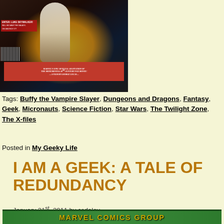[Figure (illustration): Star Wars Marvel Comics adaptation cover showing Luke Skywalker in action pose with lightsaber, text 'ENTER: LUKE SKYWALKER! WILL HE SAVE THE GALAXY- OR DESTROY IT?' and 'MARVEL'S EPIC OFFICIAL ADAPTATION OF THE MONUMENTAL 20TH CENTURY FOX MOVIE! -A FILM BY GEORGE LUCAS-']
Tags: Buffy the Vampire Slayer, Dungeons and Dragons, Fantasy, Geek, Micronauts, Science Fiction, Star Wars, The Twilight Zone, The X-files
Posted in My Geeky Life
I AM A GEEK: A TALE OF REDUNDANCY
January 21st, 2011 by csdaley
[Figure (illustration): Bottom portion of Marvel Comics Group banner/logo visible at bottom of page, green background with partial text visible]